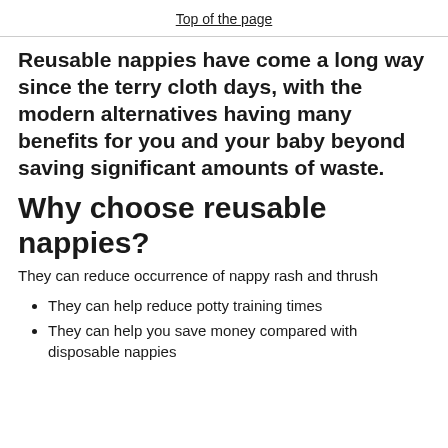Top of the page
Reusable nappies have come a long way since the terry cloth days, with the modern alternatives having many benefits for you and your baby beyond saving significant amounts of waste.
Why choose reusable nappies?
They can reduce occurrence of nappy rash and thrush
They can help reduce potty training times
They can help you save money compared with disposable nappies